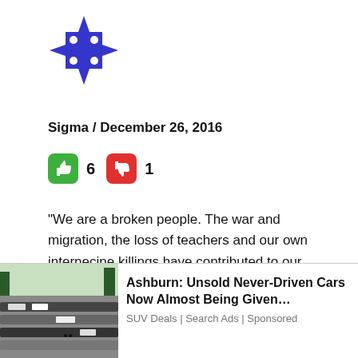[Figure (logo): Blue star/cross shaped logo with dots - website avatar icon]
Sigma / December 26, 2016
[Figure (infographic): Green thumbs up button showing 6 votes, red thumbs down button showing 1 vote]
“We are a broken people. The war and migration, the loss of teachers and our own internecine killings have contributed to our downfall.”
Absolutely true!
[Figure (logo): Second blue decorative logo icon at bottom]
[Figure (infographic): Advertisement banner: photo of car parking lot on left, text 'Ashburn: Unsold Never-Driven Cars Now Almost Being Given... SUV Deals | Search Ads | Sponsored' on right, with X close button]